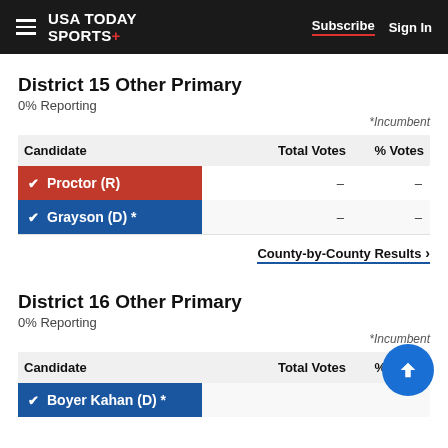USA TODAY SPORTS+   Subscribe   Sign In
District 15 Other Primary
0% Reporting
*Incumbent
| Candidate | Total Votes | % Votes |
| --- | --- | --- |
| ✓ Proctor (R) | – | – |
| ✓ Grayson (D) * | – | – |
County-by-County Results ›
District 16 Other Primary
0% Reporting
*Incumbent
| Candidate | Total Votes | % Votes |
| --- | --- | --- |
| ✓ Boyer Kahan (D) * | – | – |